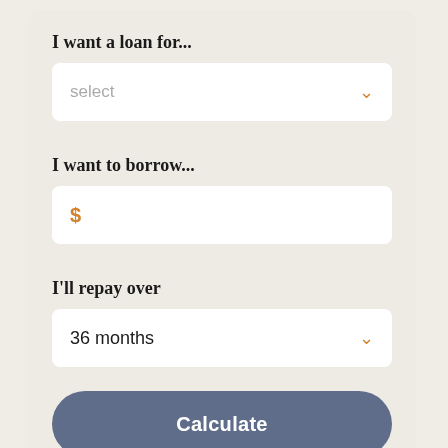I want a loan for...
select
I want to borrow...
$
I'll repay over
36 months
Calculate